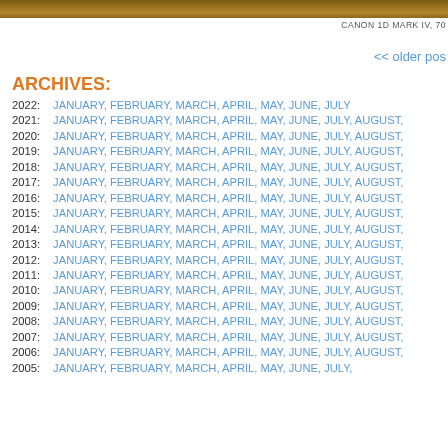[Figure (photo): Top strip of a nature/ground photo, partially visible]
CANON 1D MARK IV, 70...
<< older posts
ARCHIVES:
2022: JANUARY, FEBRUARY, MARCH, APRIL, MAY, JUNE, JULY
2021: JANUARY, FEBRUARY, MARCH, APRIL, MAY, JUNE, JULY, AUGUST,
2020: JANUARY, FEBRUARY, MARCH, APRIL, MAY, JUNE, JULY, AUGUST,
2019: JANUARY, FEBRUARY, MARCH, APRIL, MAY, JUNE, JULY, AUGUST,
2018: JANUARY, FEBRUARY, MARCH, APRIL, MAY, JUNE, JULY, AUGUST,
2017: JANUARY, FEBRUARY, MARCH, APRIL, MAY, JUNE, JULY, AUGUST,
2016: JANUARY, FEBRUARY, MARCH, APRIL, MAY, JUNE, JULY, AUGUST,
2015: JANUARY, FEBRUARY, MARCH, APRIL, MAY, JUNE, JULY, AUGUST,
2014: JANUARY, FEBRUARY, MARCH, APRIL, MAY, JUNE, JULY, AUGUST,
2013: JANUARY, FEBRUARY, MARCH, APRIL, MAY, JUNE, JULY, AUGUST,
2012: JANUARY, FEBRUARY, MARCH, APRIL, MAY, JUNE, JULY, AUGUST,
2011: JANUARY, FEBRUARY, MARCH, APRIL, MAY, JUNE, JULY, AUGUST,
2010: JANUARY, FEBRUARY, MARCH, APRIL, MAY, JUNE, JULY, AUGUST,
2009: JANUARY, FEBRUARY, MARCH, APRIL, MAY, JUNE, JULY, AUGUST,
2008: JANUARY, FEBRUARY, MARCH, APRIL, MAY, JUNE, JULY, AUGUST,
2007: JANUARY, FEBRUARY, MARCH, APRIL, MAY, JUNE, JULY, AUGUST,
2006: JANUARY, FEBRUARY, MARCH, APRIL, MAY, JUNE, JULY, AUGUST,
2005: JANUARY, FEBRUARY, MARCH, APRIL, MAY, JUNE, JULY,...